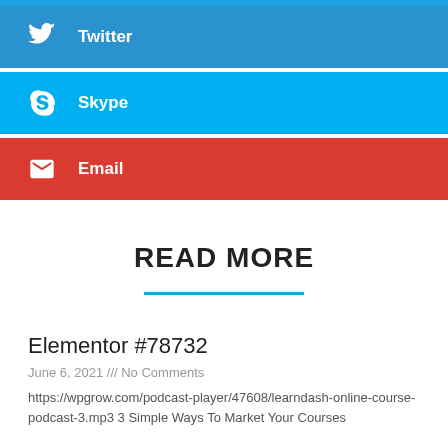Twitter
Skype
Email
READ MORE
Elementor #78732
June 6, 2021 /// No Comments
https://wpgrow.com/podcast-player/47608/learndash-online-course-podcast-3.mp3 3 Simple Ways To Market Your Courses